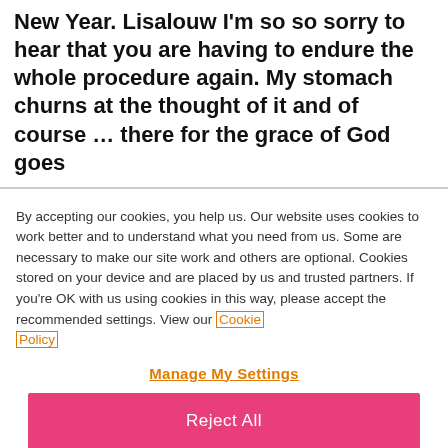New Year.  Lisalouw I'm so so sorry to hear that you are having to endure the whole procedure again. My stomach churns at the thought of it and of course … there for the grace of God goes
By accepting our cookies, you help us. Our website uses cookies to work better and to understand what you need from us. Some are necessary to make our site work and others are optional. Cookies stored on your device and are placed by us and trusted partners. If you're OK with us using cookies in this way, please accept the recommended settings. View our Cookie Policy
Manage My Settings
Reject All
Accept All Cookies